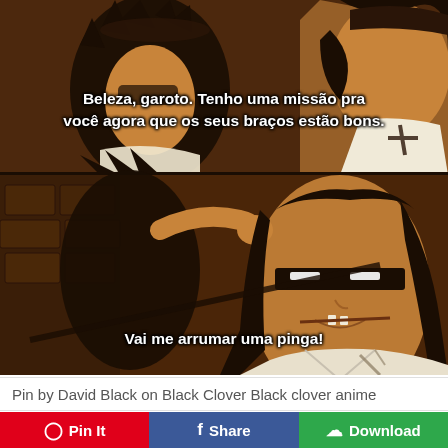[Figure (illustration): Anime screenshot from Black Clover showing two characters in a dark, orange-toned scene. Top panel shows a character with a hat speaking, bottom panel shows a blindfolded character with a stern expression. Subtitles in Portuguese are displayed on the image.]
Pin by David Black on Black Clover Black clover anime
Pin It
Share
Download